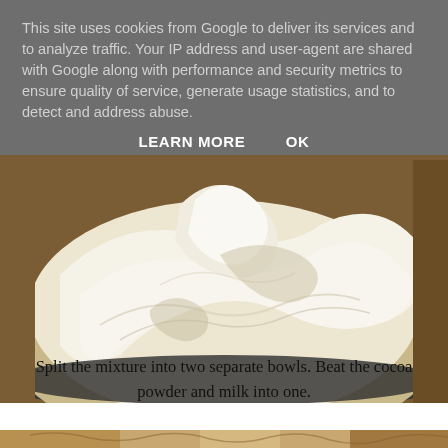This site uses cookies from Google to deliver its services and to analyze traffic. Your IP address and user-agent are shared with Google along with performance and security metrics to ensure quality of service, generate usage statistics, and to detect and address abuse.
LEARN MORE    OK
[Figure (photo): Close-up photo of a fluffy white/cream mixture (whipped cream or frosting) in a dark bowl, showing swirled peaks and texture.]
Split the mixture into two separate bowls. Beat the cocoa powder and milk into one.
[Figure (photo): Partial view of food at the bottom of the page.]